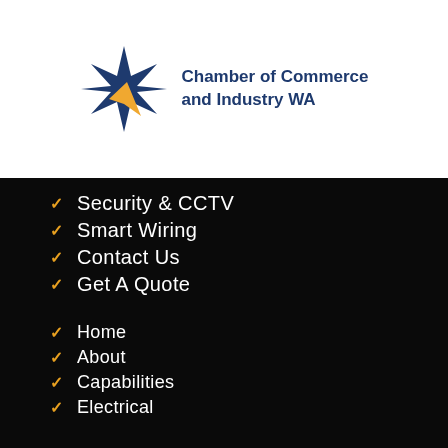[Figure (logo): Chamber of Commerce and Industry WA logo — dark blue star with yellow arrow accent, beside bold blue text reading 'Chamber of Commerce and Industry WA']
Security & CCTV
Smart Wiring
Contact Us
Get A Quote
Home
About
Capabilities
Electrical